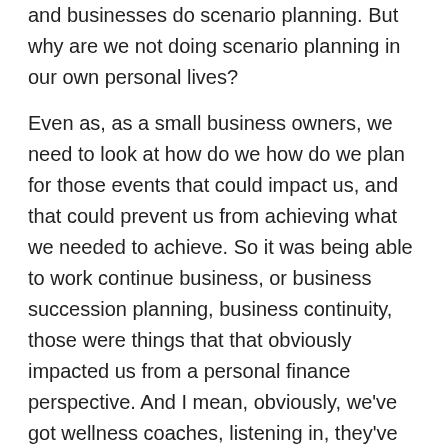and businesses do scenario planning. But why are we not doing scenario planning in our own personal lives?
Even as, as a small business owners, we need to look at how do we how do we plan for those events that could impact us, and that could prevent us from achieving what we needed to achieve. So it was being able to work continue business, or business succession planning, business continuity, those were things that that obviously impacted us from a personal finance perspective. And I mean, obviously, we've got wellness coaches, listening in, they've got their own businesses that they need to manage, but they also have clients that they need to manage. And so personal finance of finance affects them on two levels on the client level, and on a business level. And until we make sure that it's very difficult, because how do you how do you manage your own business finances if you can't actually help your own…